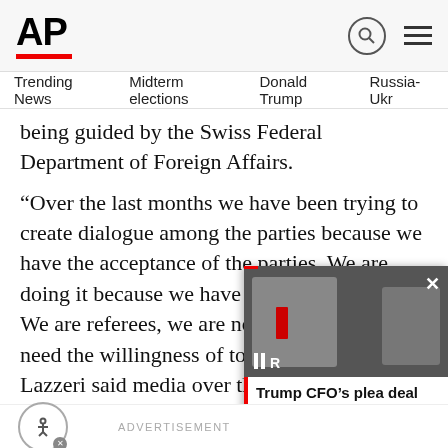AP
Trending News  Midterm elections  Donald Trump  Russia-Ukr
being guided by the Swiss Federal Department of Foreign Affairs.
“Over the last months we have been trying to create dialogue among the parties because we have the acceptance of the parties. We are doing it because we have a certain expertise. We are referees, we are not the players. We need the willingness o[f all parties] to build the dialogue,” Lazzeri said [to] media over the weekend.
[Figure (screenshot): Video overlay showing two people, with caption: Trump CFO’s plea deal could make him a prosecution…]
Trump CFO’s plea deal could make him a prosecution…
ADVERTISEMENT